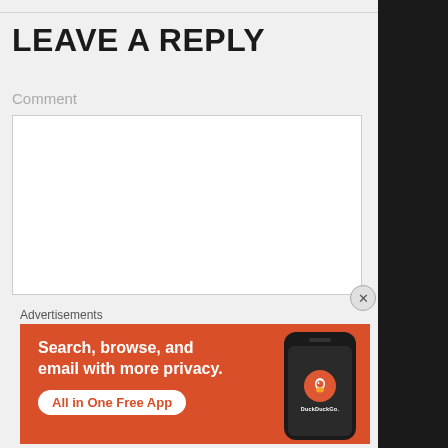LEAVE A REPLY
Comment
[Figure (screenshot): Empty comment text input box with white background and light border]
Advertisements
[Figure (infographic): DuckDuckGo advertisement banner on orange/red background with text 'Search, browse, and email with more privacy. All in One Free App' and a phone mockup showing the DuckDuckGo app logo]